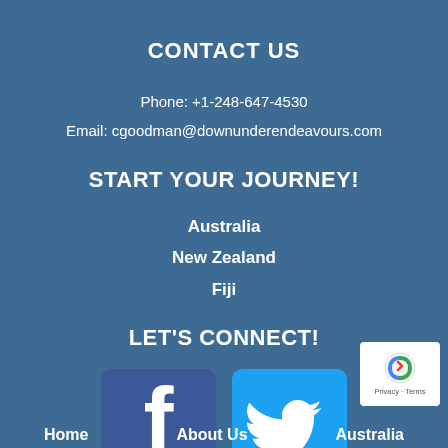CONTACT US
Phone: +1-248-647-4530
Email: cgoodman@downunderendeavours.com
START YOUR JOURNEY!
Australia
New Zealand
Fiji
LET'S CONNECT!
[Figure (logo): Facebook and Twitter social media icons side by side]
Home   About Us   Australia